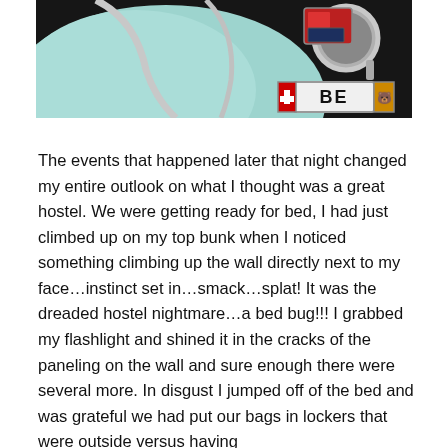[Figure (photo): Close-up photo of the rear of a vintage mint-green scooter or motorcycle, showing chrome mirror, red tail light, and a Swiss license plate reading 'BE' with a red flag badge on the left and an orange canton badge on the right. Dark background.]
The events that happened later that night changed my entire outlook on what I thought was a great hostel. We were getting ready for bed, I had just climbed up on my top bunk when I noticed something climbing up the wall directly next to my face…instinct set in…smack…splat! It was the dreaded hostel nightmare…a bed bug!!! I grabbed my flashlight and shined it in the cracks of the paneling on the wall and sure enough there were several more. In disgust I jumped off of the bed and was grateful we had put our bags in lockers that were outside versus having